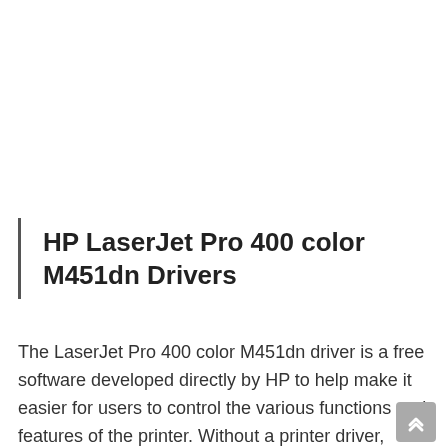HP LaserJet Pro 400 color M451dn Drivers
The LaserJet Pro 400 color M451dn driver is a free software developed directly by HP to help make it easier for users to control the various functions and features of the printer. Without a printer driver, some of the features and functions